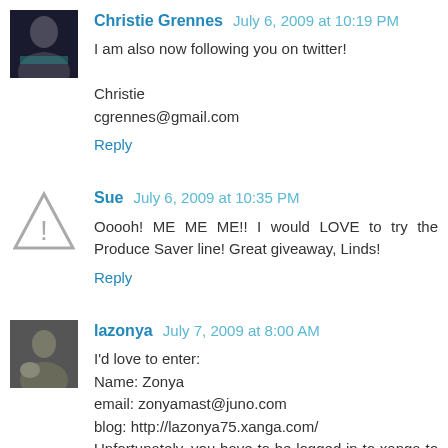Christie Grennes July 6, 2009 at 10:19 PM
I am also now following you on twitter!

Christie
cgrennes@gmail.com
Reply
Sue July 6, 2009 at 10:35 PM
Ooooh! ME ME ME!! I would LOVE to try the Produce Saver line! Great giveaway, Linds!
Reply
lazonya July 7, 2009 at 8:00 AM
I'd love to enter:
Name: Zonya
email: zonyamast@juno.com
blog: http://lazonya75.xanga.com/
Unfortunately, you have to be logged in to xanga to visit my blog.